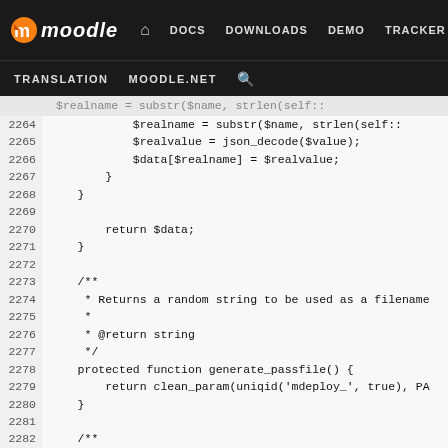[Figure (screenshot): Moodle developer documentation website navigation bar with logo, DOCS, DOWNLOADS, DEMO, TRACKER, DEV links, and secondary nav with TRANSLATION, MOODLE.NET, and search icon]
Code viewer showing PHP source code lines 2264-2289 from Moodle source, including functions for returning $data, generate_passfile(), and generate_password()